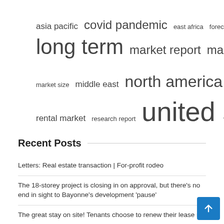[Figure (infographic): Tag cloud with terms of varying sizes related to real estate and market research: asia pacific, covid pandemic, east africa, forecast period, long term, market report, market research, market share, market size, middle east, north america, real estate, rental market, research report, united states]
Recent Posts
Letters: Real estate transaction | For-profit rodeo
The 18-storey project is closing in on approval, but there's no end in sight to Bayonne's development 'pause'
The great stay on site! Tenants choose to renew their lease rather than m…
Assembly of the logistics and warehousing application through